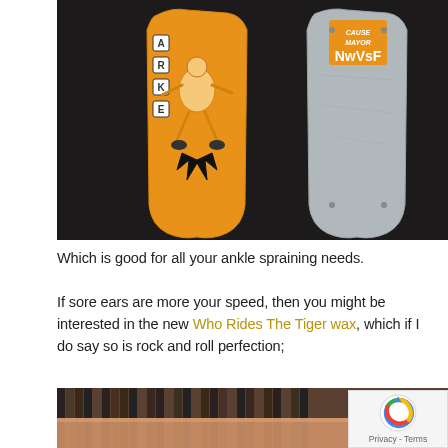[Figure (photo): Two skateboard decks against a dark background. Left deck is orange with a graphic illustration of a skater and letter blocks spelling 'BANKER'. Right deck is grey/silver showing the underside with a yellow/orange sticker reading 'NWVSF' with logo text above.]
Which is good for all your ankle spraining needs.
If sore ears are more your speed, then you might be interested in the new Who Rides The Tiger wax, which if I do say so is rock and roll perfection;
[Figure (photo): Bottom portion of a photo showing what appears to be a wax block or flat surface in front of rows of vinyl records on shelves. A reCAPTCHA privacy badge overlays the bottom right corner.]